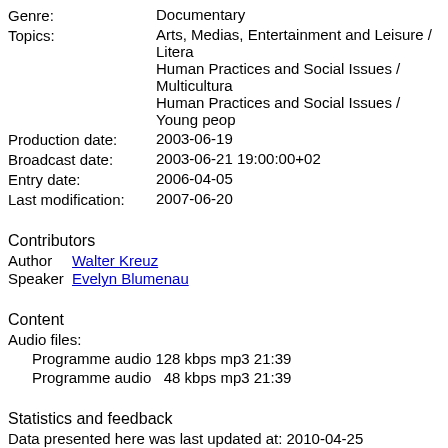Genre: Documentary
Topics: Arts, Medias, Entertainment and Leisure / Litera... Human Practices and Social Issues / Multicultura... Human Practices and Social Issues / Young peop...
Production date: 2003-06-19
Broadcast date: 2003-06-21 19:00:00+02
Entry date: 2006-04-05
Last modification: 2007-06-20
Contributors
Author Walter Kreuz
Speaker Evelyn Blumenau
Content
Audio files:
Programme audio 128 kbps mp3 21:39
Programme audio  48 kbps mp3 21:39
Statistics and feedback
Data presented here was last updated at: 2010-04-25 02:46:50+02